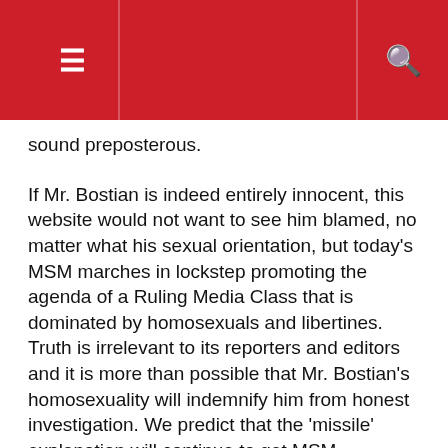[Navigation bar with hamburger menu and search icon]
sound preposterous.
If Mr. Bostian is indeed entirely innocent, this website would not want to see him blamed, no matter what his sexual orientation, but today's MSM marches in lockstep promoting the agenda of a Ruling Media Class that is dominated by homosexuals and libertines. Truth is irrelevant to its reporters and editors and it is more than possible that Mr. Bostian's homosexuality will indemnify him from honest investigation. We predict that the 'missile' explanation will continue to get MSM promotion until a better one can be found.
In a previous article we asked for three cheers for the Boston Marathon bombing jury and its death